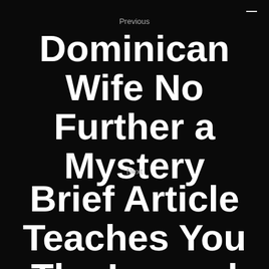—
Previous
Dominican Wife No Further a Mystery
Next
Brief Article Teaches You The Ins and Outs of Irish Mail Order…